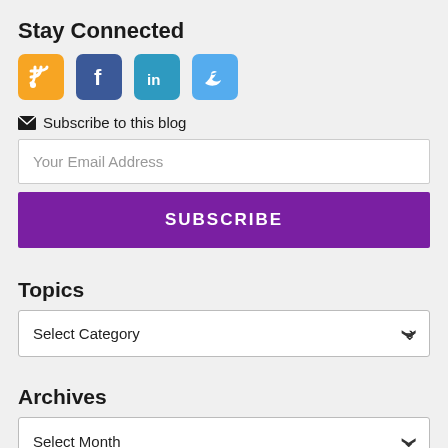Stay Connected
[Figure (infographic): Four social media icons: RSS (orange), Facebook (dark blue), LinkedIn (teal/blue), Twitter (light blue)]
✉ Subscribe to this blog
Your Email Address (input field)
SUBSCRIBE (button)
Topics
Select Category (dropdown)
Archives
Select Month (dropdown)